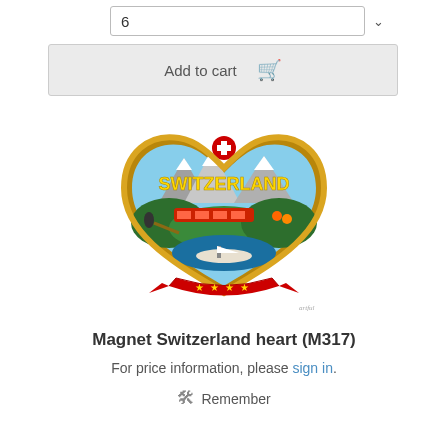6
Add to cart
[Figure (photo): Heart-shaped Switzerland souvenir magnet with SWITZERLAND text, Swiss cross, alpine mountains, red train, boat on lake, alphorn player, and edelweiss flowers. Gold border with red ribbon and stars at bottom.]
Magnet Switzerland heart (M317)
For price information, please sign in.
Remember